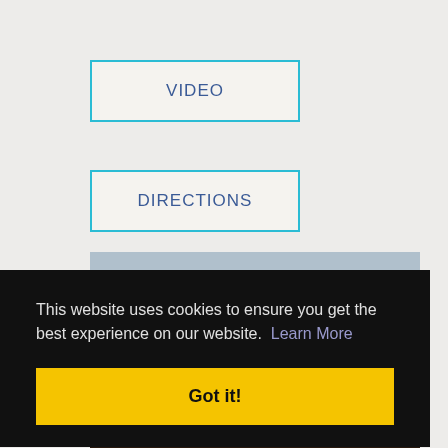[Figure (screenshot): VIDEO button with cyan border on light gray background]
[Figure (screenshot): DIRECTIONS button with cyan border on light gray background]
[Figure (screenshot): Map placeholder area with muted blue-gray color]
This website uses cookies to ensure you get the best experience on our website.  Learn More
Got it!